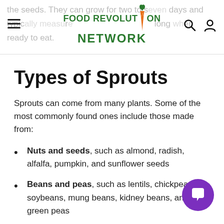Food Revolution Network
the seeds. They can grow for two to seven days and typically measure 2–5 cm (1–2 inches) long when ready to eat.
Types of Sprouts
Sprouts can come from many plants. Some of the most commonly found ones include those made from:
Nuts and seeds, such as almond, radish, alfalfa, pumpkin, and sunflower seeds
Beans and peas, such as lentils, chickpeas, soybeans, mung beans, kidney beans, and green peas
Grains, such as quinoa, oats, Kamut, amaranth, and brown rice
Vegetables, such as broccoli, clovers, beets, and